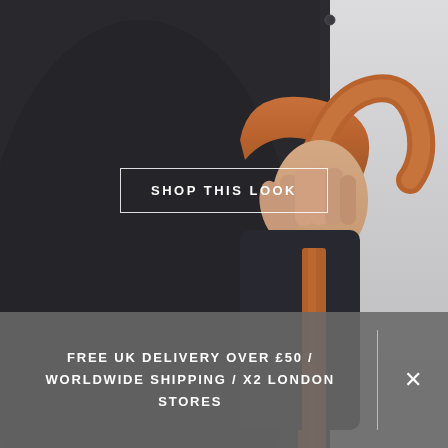[Figure (photo): Close-up photograph of a person in a dark suit holding a wooden walking cane/umbrella handle, with a light background on the right side.]
SHOP THIS LOOK
FREE UK DELIVERY OVER £50 / WORLDWIDE SHIPPING / X2 LONDON STORES